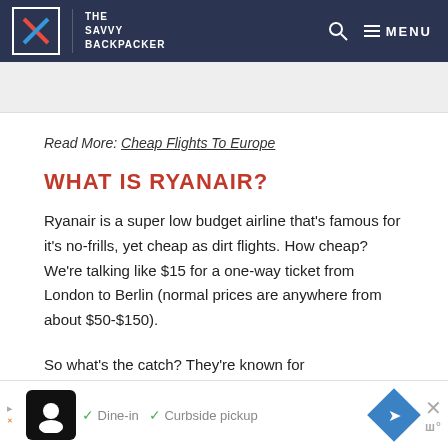THE SAVVY BACKPACKER
Read More: Cheap Flights To Europe
WHAT IS RYANAIR?
Ryanair is a super low budget airline that's famous for it's no-frills, yet cheap as dirt flights. How cheap? We're talking like $15 for a one-way ticket from London to Berlin (normal prices are anywhere from about $50-$150).
So what's the catch? They're known for nickel-and-diming for everything. There is literally an extra charge for everything. But you can score some super cheap flights if you know how to follow their rules. They do get some bad reviews but we've had good exp...